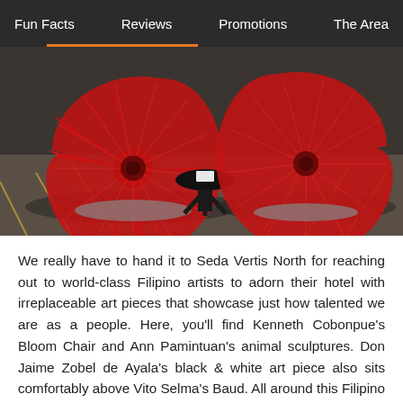Fun Facts   Reviews   Promotions   The Area
[Figure (photo): Two large red decorative Bloom Chairs (fan/flower-shaped) by Kenneth Cobonpue on either side of a small round black table, placed on a patterned rug in a hotel lobby setting.]
We really have to hand it to Seda Vertis North for reaching out to world-class Filipino artists to adorn their hotel with irreplaceable art pieces that showcase just how talented we are as a people. Here, you'll find Kenneth Cobonpue's Bloom Chair and Ann Pamintuan's animal sculptures. Don Jaime Zobel de Ayala's black & white art piece also sits comfortably above Vito Selma's Baud. All around this Filipino hotel, you'll find local craftsmanship and furnishing. This ultimately adds a Filipino touch and elegance to the modern establishment.